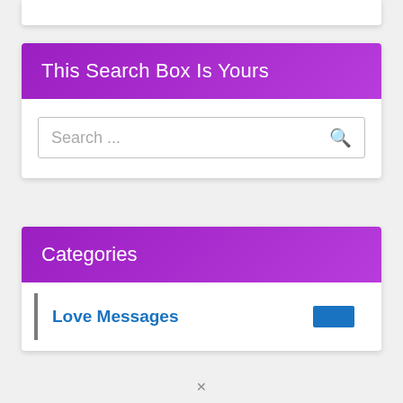This Search Box Is Yours
[Figure (screenshot): Search input box with placeholder text 'Search ...' and a search icon on the right]
Categories
Love Messages